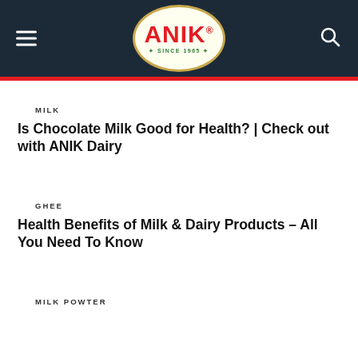[Figure (logo): ANIK dairy brand logo — oval shape with cream background, gold border, red ANIK text with registered trademark, green 'SINCE 1965' text, TM mark at top]
MILK
Is Chocolate Milk Good for Health? | Check out with ANIK Dairy
GHEE
Health Benefits of Milk & Dairy Products – All You Need To Know
MILK POWTER